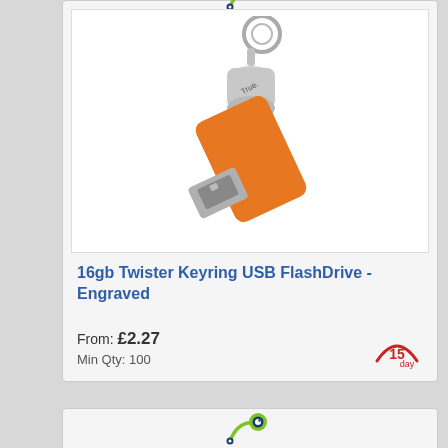[Figure (photo): Green and blue stylized eye/magnifier logo icon above first product card]
[Figure (photo): Orange Twister Keyring USB FlashDrive with silver swivel cap and key ring attachment, branded with 'True.']
16gb Twister Keyring USB FlashDrive - Engraved
From: £2.27
Min Qty: 100
[Figure (infographic): 15 day turnaround badge with red arc]
[Figure (photo): Green and blue stylized eye/magnifier logo icon above second product card]
[Figure (photo): Silver USB keyring flash drive with key ring attachment, partially visible at bottom of page]